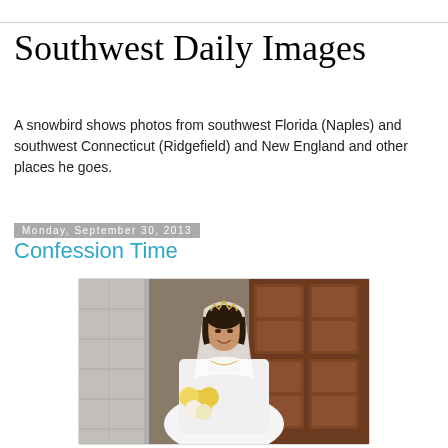Southwest Daily Images
A snowbird shows photos from southwest Florida (Naples) and southwest Connecticut (Ridgefield) and New England and other places he goes.
Monday, September 30, 2013
Confession Time
[Figure (photo): A bride in a white wedding gown and veil, holding a bouquet of yellow and white flowers, standing in front of large ornate dark wooden doors with a stone wall to her left. She is smiling and wearing a tiara.]